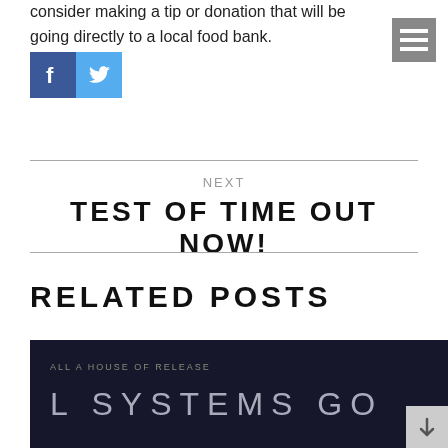consider making a tip or donation that will be going directly to a local food bank.
[Figure (logo): Facebook and Twitter social media icon buttons]
[Figure (other): Hamburger menu button icon (three horizontal white lines on grey background)]
NEXT
TEST OF TIME OUT NOW!
RELATED POSTS
[Figure (screenshot): Dark movie/game promotional image showing text 'L SYSTEMS GO']